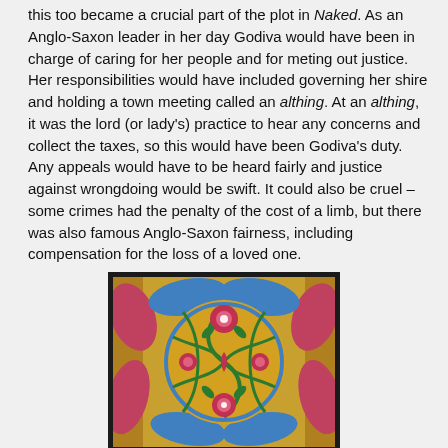this too became a crucial part of the plot in Naked. As an Anglo-Saxon leader in her day Godiva would have been in charge of caring for her people and for meting out justice. Her responsibilities would have included governing her shire and holding a town meeting called an althing. At an althing, it was the lord (or lady's) practice to hear any concerns and collect the taxes, so this would have been Godiva's duty. Any appeals would have to be heard fairly and justice against wrongdoing would be swift. It could also be cruel – some crimes had the penalty of the cost of a limb, but there was also famous Anglo-Saxon fairness, including compensation for the loss of a loved one.
[Figure (illustration): Illuminated manuscript-style decorative illustration featuring a circular ornamental design with floral and vine motifs on a golden yellow background, with blue and pink/red colors, bordered by a black frame.]